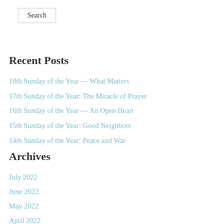Search
Recent Posts
18th Sunday of the Year — What Matters
17th Sunday of the Year: The Miracle of Prayer
16th Sunday of the Year — An Open Heart
15th Sunday of the Year: Good Neighbors
14th Sunday of the Year: Peace and War
Archives
July 2022
June 2022
May 2022
April 2022
March 2022
February 2022